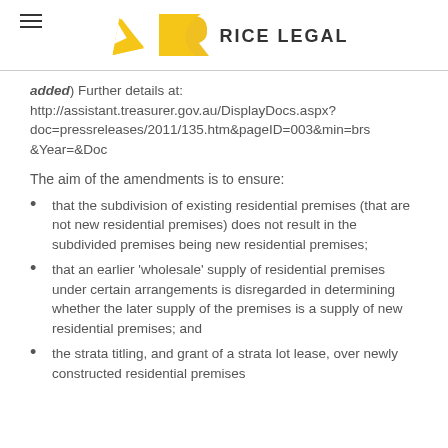RICE LEGAL
added) Further details at: http://assistant.treasurer.gov.au/DisplayDocs.aspx?doc=pressreleases/2011/135.htm&pageID=003&min=brs&Year=&Doc
The aim of the amendments is to ensure:
that the subdivision of existing residential premises (that are not new residential premises) does not result in the subdivided premises being new residential premises;
that an earlier 'wholesale' supply of residential premises under certain arrangements is disregarded in determining whether the later supply of the premises is a supply of new residential premises; and
the strata titling, and grant of a strata lot lease, over newly constructed residential premises